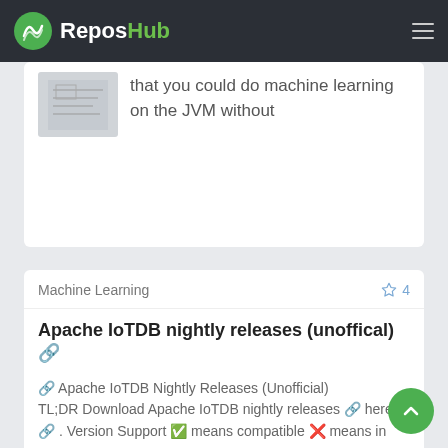ReposHub
that you could do machine learning on the JVM without
Machine Learning  ☆ 4
Apache IoTDB nightly releases (unoffical) 🔗
🔗 Apache IoTDB Nightly Releases (Unofficial) TL;DR Download Apache IoTDB nightly releases 🔗 here 🔗 . Version Support ✅ means compatible ❌ means in